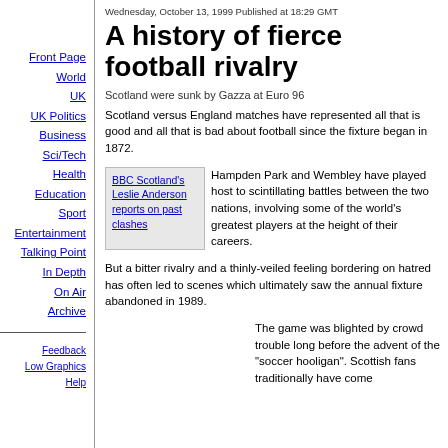Front Page
World
UK
UK Politics
Business
Sci/Tech
Health
Education
Sport
Entertainment
Talking Point
In Depth
On Air
Archive
Feedback
Low Graphics
Help
Wednesday, October 13, 1999 Published at 18:29 GMT
A history of fierce football rivalry
Scotland were sunk by Gazza at Euro 96
Scotland versus England matches have represented all that is good and all that is bad about football since the fixture began in 1872.
BBC Scotland's Leslie Anderson reports on past clashes
Hampden Park and Wembley have played host to scintillating battles between the two nations, involving some of the world's greatest players at the height of their careers.
But a bitter rivalry and a thinly-veiled feeling bordering on hatred has often led to scenes which ultimately saw the annual fixture abandoned in 1989.
The game was blighted by crowd trouble long before the advent of the "soccer hooligan". Scottish fans traditionally have come